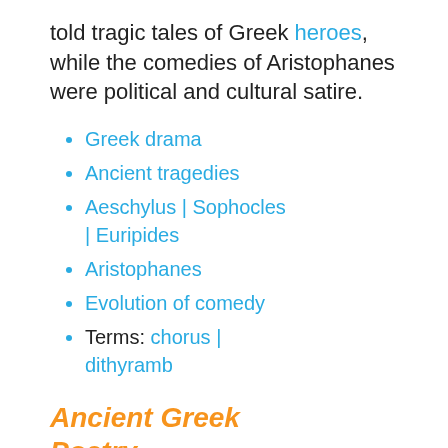told tragic tales of Greek heroes, while the comedies of Aristophanes were political and cultural satire.
Greek drama
Ancient tragedies
Aeschylus | Sophocles | Euripides
Aristophanes
Evolution of comedy
Terms: chorus | dithyramb
Ancient Greek Poetry
Hesiod | Sappho |